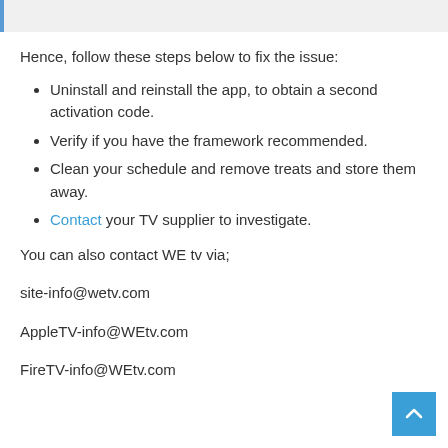Hence, follow these steps below to fix the issue:
Uninstall and reinstall the app, to obtain a second activation code.
Verify if you have the framework recommended.
Clean your schedule and remove treats and store them away.
Contact your TV supplier to investigate.
You can also contact WE tv via;
site-info@wetv.com
AppleTV-info@WEtv.com
FireTV-info@WEtv.com